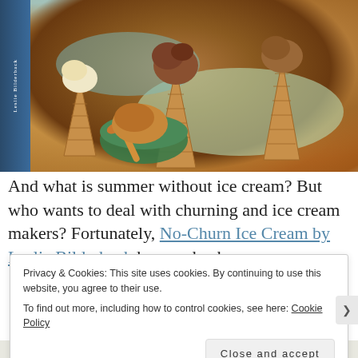[Figure (photo): Overhead photo of ice cream cones and a bowl of ice cream scoops on a light green/teal background. A book spine on the left reads 'Leslie Bilderback'. There are waffle cones with chocolate/vanilla ice cream scoops and a green bowl with a golden spoon containing a scoop of caramel-colored ice cream.]
And what is summer without ice cream? But who wants to deal with churning and ice cream makers? Fortunately, No-Churn Ice Cream by Leslie Bilderback has our back
Privacy & Cookies: This site uses cookies. By continuing to use this website, you agree to their use.
To find out more, including how to control cookies, see here: Cookie Policy
Close and accept